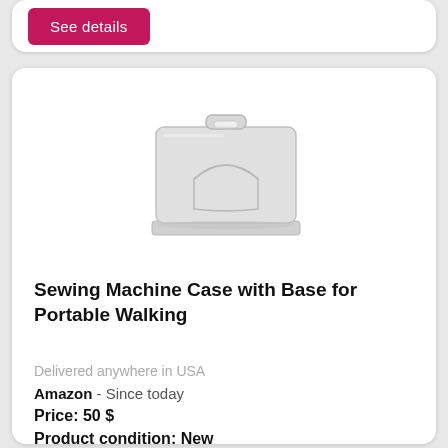See details
[Figure (photo): A white/light gray portable sewing machine case with a handle on top and a curved indentation on the front, sitting on a base tray.]
Sewing Machine Case with Base for Portable Walking
Delivered anywhere in USA
Amazon  - Since today
Price: 50 $
Product condition: New